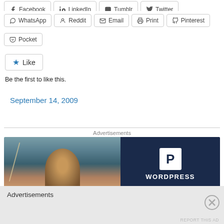[Figure (screenshot): Social share buttons row (partially visible): Facebook, LinkedIn, Tumblr, Twitter]
WhatsApp, Reddit, Email, Print, Pinterest share buttons
Pocket share button
[Figure (screenshot): Like button with star icon]
Be the first to like this.
September 14, 2009
Advertisements
[Figure (screenshot): WordPress advertisement banner with photo of smiling person and WordPress P logo on dark navy background]
Advertisements
[Figure (screenshot): Bottom advertisement bar with close X button and REPORT THIS AD text]